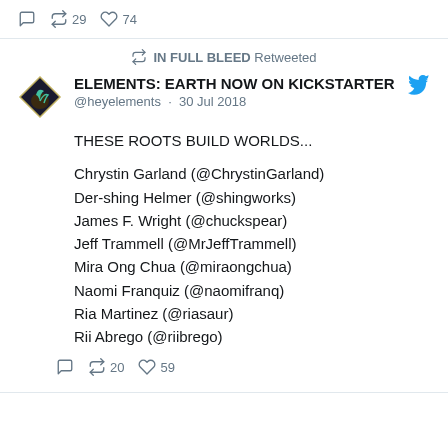29 retweets 74 likes
IN FULL BLEED Retweeted
ELEMENTS: EARTH NOW ON KICKSTARTER
@heyelements · 30 Jul 2018
THESE ROOTS BUILD WORLDS...

Chryistin Garland (@ChrystinGarland)
Der-shing Helmer (@shingworks)
James F. Wright (@chuckspear)
Jeff Trammell (@MrJeffTrammell)
Mira Ong Chua (@miraongchua)
Naomi Franquiz (@naomifranq)
Ria Martinez (@riasaur)
Rii Abrego (@riibrego)
20 retweets 59 likes